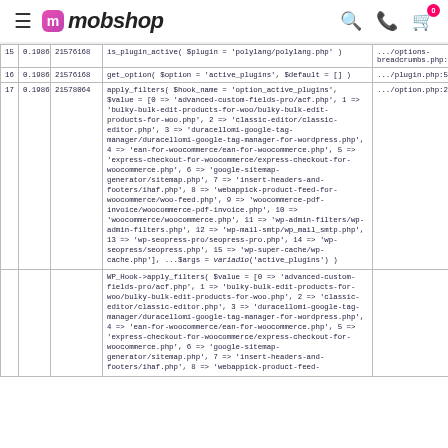mobshop — navigation header with logo, search, phone, cart icons
| # | Time | Memory | Function | Location |
| --- | --- | --- | --- | --- |
| 15 | 0.1986 | 21576168 | is_plugin_active( $plugin = 'polylang/polylang.php' ) | ../options-breadcrumbs.php:326 |
| 16 | 0.1986 | 21576168 | get_option( $option = 'active_plugins', $default = [] ) | ../plugin.php:528 |
| 17 | 0.1986 | 21578064 | apply_filters( $hook_name = 'option_active_plugins', $value = [0 => 'advanced-custom-fields-pro/acf.php', 1 => 'bulky-bulk-edit-products-for-woo/bulky-bulk-edit-products-for-woo.php', 2 => 'classic-editor/classic-editor.php', 3 => 'duracellomi-google-tag-manager/duracellomi-google-tag-manager-for-wordpress.php', 4 => 'ean-for-woocommerce/ean-for-woocommerce.php', 5 => 'express-checkout-for-woocommerce/express-checkout-for-woocommerce.php', 6 => 'google-sitemap-generator/sitemap.php', 7 => 'insert-headers-and-footers/ihaf.php', 8 => 'webappick-product-feed-for-woocommerce/woo-feed.php', 9 => 'woocommerce-pdf-invoice/woocommerce-pdf-invoice.php', 10 => 'woocommerce/woocommerce.php', 11 => 'wp-admin-filters/wp-admin-filters.php', 12 => 'wp-mail-smtp/wp_mail_smtp.php', 13 => 'wp-seopress-pro/seopress-pro.php', 14 => 'wp-seopress/seopress.php', 15 => 'wp-super-cache/wp-cache.php'], ...$args = variadio('active_plugins') ) | ../option.php:229 |
|  |  |  | WP_Hook->apply_filters( $value = [0 => 'advanced-custom-fields-pro/acf.php', 1 => 'bulky-bulk-edit-products-for-woo/bulky-bulk-edit-products-for-woo.php', 2 => 'classic-editor/classic-editor.php', 3 => 'duracellomi-google-tag-manager/duracellomi-google-tag-manager-for-wordpress.php', 4 => 'ean-for-woocommerce/ean-for-woocommerce.php', 5 => 'express-checkout-for-woocommerce/express-checkout-for-woocommerce.php', 6 => 'google-sitemap-generator/sitemap.php', 7 => 'insert-headers-and-footers/ihaf.php', 8 => 'webappick-product-feed- |  |